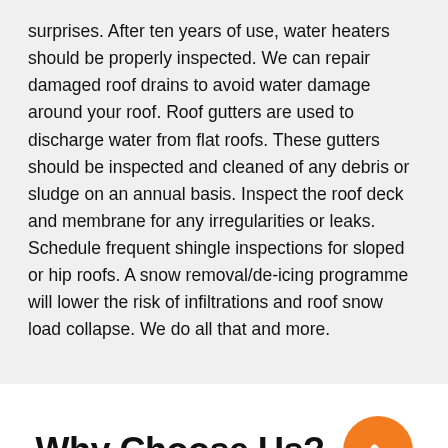surprises. After ten years of use, water heaters should be properly inspected. We can repair damaged roof drains to avoid water damage around your roof. Roof gutters are used to discharge water from flat roofs. These gutters should be inspected and cleaned of any debris or sludge on an annual basis. Inspect the roof deck and membrane for any irregularities or leaks. Schedule frequent shingle inspections for sloped or hip roofs. A snow removal/de-icing programme will lower the risk of infiltrations and roof snow load collapse. We do all that and more.
Why Choose Us?
[Figure (other): Orange circular phone/call button icon]